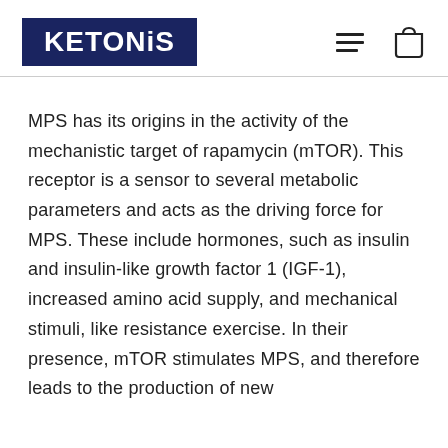[Figure (logo): KETONiS logo — white bold text on dark navy blue rectangular background]
MPS has its origins in the activity of the mechanistic target of rapamycin (mTOR). This receptor is a sensor to several metabolic parameters and acts as the driving force for MPS. These include hormones, such as insulin and insulin-like growth factor 1 (IGF-1), increased amino acid supply, and mechanical stimuli, like resistance exercise. In their presence, mTOR stimulates MPS, and therefore leads to the production of new